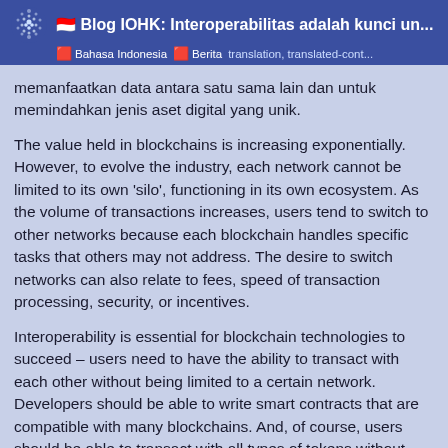🇮🇩 Blog IOHK: Interoperabilitas adalah kunci un... | Bahasa Indonesia | Berita | translation, translated-cont...
memanfaatkan data antara satu sama lain dan untuk memindahkan jenis aset digital yang unik.
The value held in blockchains is increasing exponentially. However, to evolve the industry, each network cannot be limited to its own 'silo', functioning in its own ecosystem. As the volume of transactions increases, users tend to switch to other networks because each blockchain handles specific tasks that others may not address. The desire to switch networks can also relate to fees, speed of transaction processing, security, or incentives.
Interoperability is essential for blockchain technologies to succeed – users need to have the ability to transact with each other without being limited to a certain network. Developers should be able to write smart contracts that are compatible with many blockchains. And, of course, users should be able to transact with all types of tokens without limitations.
Sidechains and blockchain bridges are two... and interoperability allowing...